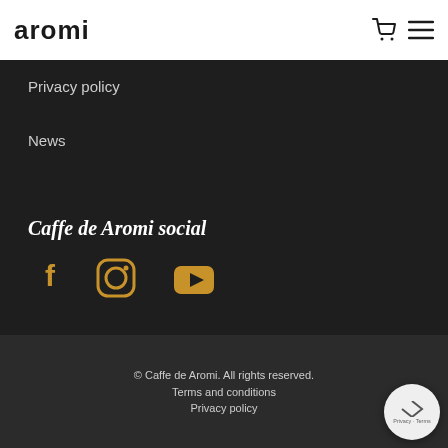aromi
Privacy policy
News
Caffe de Aromi social
[Figure (illustration): Social media icons: Facebook, Instagram, YouTube in gold/amber color]
© Caffe de Aromi. All rights reserved.
Terms and conditions
Privacy policy